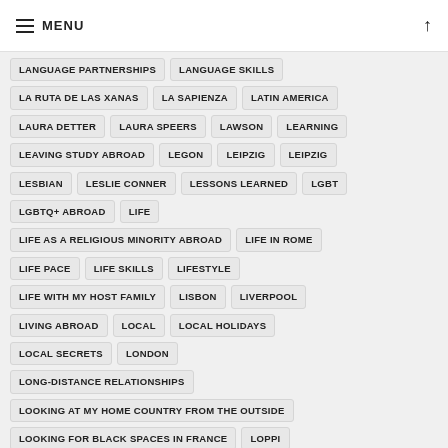MENU
LANGUAGE PARTNERSHIPS
LANGUAGE SKILLS
LA RUTA DE LAS XANAS
LA SAPIENZA
LATIN AMERICA
LAURA DETTER
LAURA SPEERS
LAWSON
LEARNING
LEAVING STUDY ABROAD
LEGON
LEIPZIG
LEIPZIG
LESBIAN
LESLIE CONNER
LESSONS LEARNED
LGBT
LGBTQ+ ABROAD
LIFE
LIFE AS A RELIGIOUS MINORITY ABROAD
LIFE IN ROME
LIFE PACE
LIFE SKILLS
LIFESTYLE
LIFE WITH MY HOST FAMILY
LISBON
LIVERPOOL
LIVING ABROAD
LOCAL
LOCAL HOLIDAYS
LOCAL SECRETS
LONDON
LONG-DISTANCE RELATIONSHIPS
LOOKING AT MY HOME COUNTRY FROM THE OUTSIDE
LOOKING FOR BLACK SPACES IN FRANCE
LOPPI